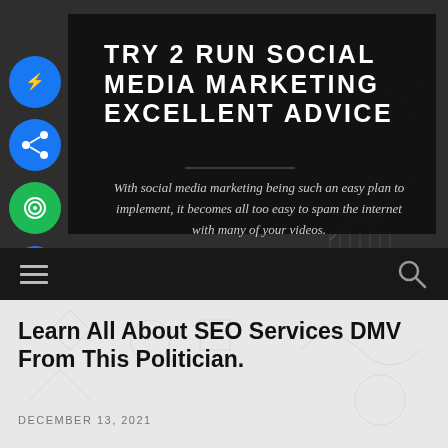[Figure (screenshot): Website header/hero section with dark background featuring social media marketing doodle illustrations. Blue circular social media icons on the left side. Dark overlay box in center-right with large white uppercase title text and subtitle. Navigation bar below with hamburger menu and search icon.]
TRY 2 RUN SOCIAL MEDIA MARKETING EXCELLENT ADVICE
With social media marketing being such an easy plan to implement, it becomes all too easy to spam the internet with many of your videos.
Learn All About SEO Services DMV From This Politician.
DECEMBER 13, 2021